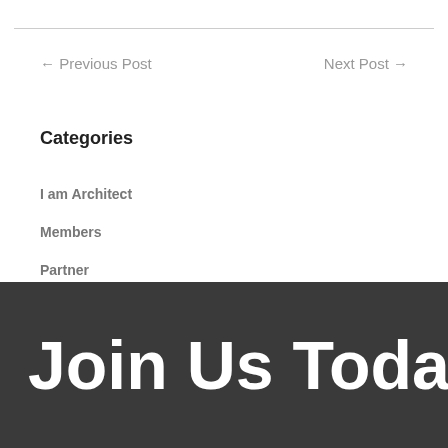← Previous Post
Next Post →
Categories
I am Architect
Members
Partner
Join Us Today